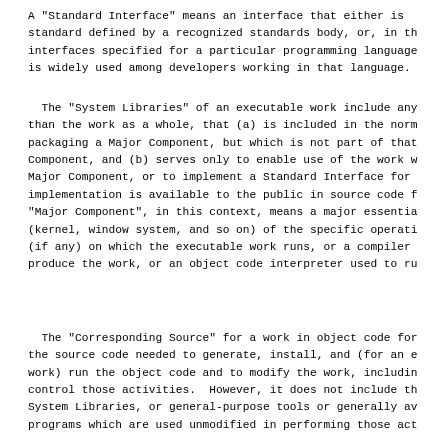A "Standard Interface" means an interface that either is standard defined by a recognized standards body, or, in th interfaces specified for a particular programming language is widely used among developers working in that language.
The "System Libraries" of an executable work include any than the work as a whole, that (a) is included in the norm packaging a Major Component, but which is not part of that Component, and (b) serves only to enable use of the work w Major Component, or to implement a Standard Interface for implementation is available to the public in source code f "Major Component", in this context, means a major essentia (kernel, window system, and so on) of the specific operati (if any) on which the executable work runs, or a compiler produce the work, or an object code interpreter used to ru
The "Corresponding Source" for a work in object code for the source code needed to generate, install, and (for an e work) run the object code and to modify the work, includin control those activities.  However, it does not include th System Libraries, or general-purpose tools or generally av programs which are used unmodified in performing those act